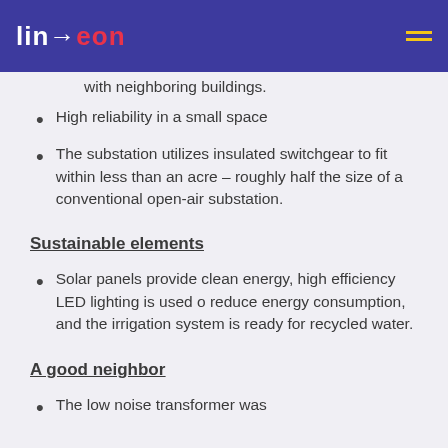Linxeon (logo) — navigation header
with neighboring buildings.
High reliability in a small space
The substation utilizes insulated switchgear to fit within less than an acre – roughly half the size of a conventional open-air substation.
Sustainable elements
Solar panels provide clean energy, high efficiency LED lighting is used o reduce energy consumption, and the irrigation system is ready for recycled water.
A good neighbor
The low noise transformer was